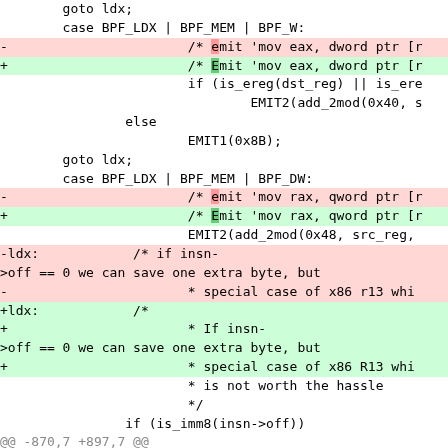[Figure (screenshot): A code diff view showing changes to C code related to BPF (Berkeley Packet Filter) JIT compiler. Lines show case statements for BPF_LDX | BPF_MEM | BPF_W and BPF_LDX | BPF_MEM | BPF_DW, with removed lines (red background, prefix -) and added lines (green background, prefix +). Includes goto, EMIT1, EMIT2 statements and ldx label handling for insn offset checks.]